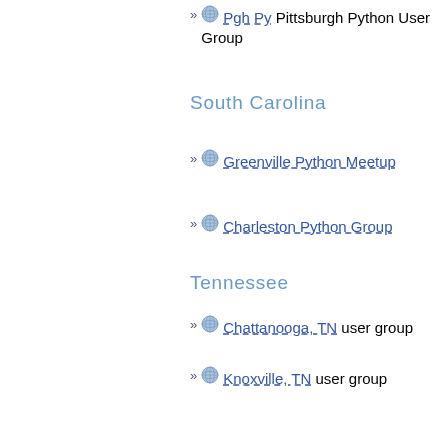Pgh Py Pittsburgh Python User Group
South Carolina
Greenville Python Meetup
Charleston Python Group
Tennessee
Chattanooga, TN user group
Knoxville, TN user group
MEMpy Memphis, TN Python User Group
PyNash Nashville,